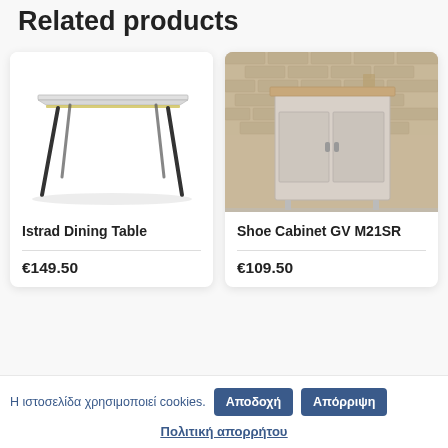Related products
[Figure (photo): Istrad Dining Table product image — glass top dining table with black angled metal legs on white background]
Istrad Dining Table
€149.50
[Figure (photo): Shoe Cabinet GV M21SR product image — grey wood cabinet with two doors against brick wall background]
Shoe Cabinet GV M21SR
€109.50
Η ιστοσελίδα χρησιμοποιεί cookies.
Αποδοχή
Απόρριψη
Πολιτική απορρήτου